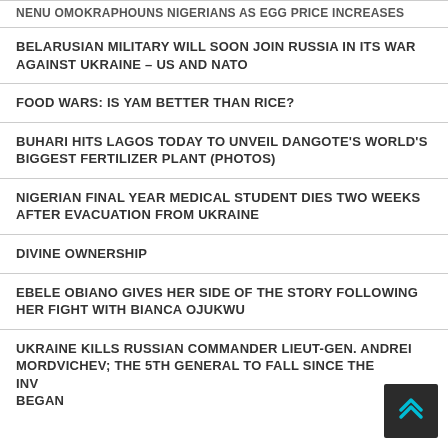NENU OMOKRAPHOUNS NIGERIANS AS EGG PRICE INCREASES
BELARUSIAN MILITARY WILL SOON JOIN RUSSIA IN ITS WAR AGAINST UKRAINE – US AND NATO
FOOD WARS: IS YAM BETTER THAN RICE?
BUHARI HITS LAGOS TODAY TO UNVEIL DANGOTE'S WORLD'S BIGGEST FERTILIZER PLANT (PHOTOS)
NIGERIAN FINAL YEAR MEDICAL STUDENT DIES TWO WEEKS AFTER EVACUATION FROM UKRAINE
DIVINE OWNERSHIP
EBELE OBIANO GIVES HER SIDE OF THE STORY FOLLOWING HER FIGHT WITH BIANCA OJUKWU
UKRAINE KILLS RUSSIAN COMMANDER LIEUT-GEN. ANDREI MORDVICHEV; THE 5TH GENERAL TO FALL SINCE THE INVASION BEGAN